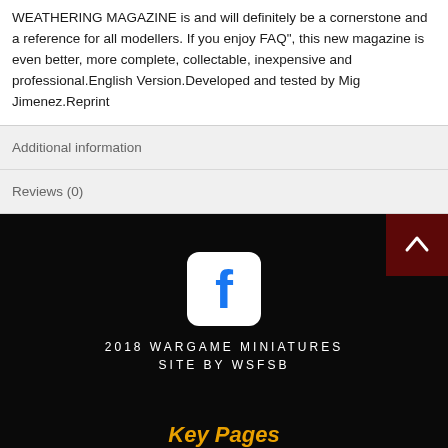WEATHERING MAGAZINE is and will definitely be a cornerstone and a reference for all modellers. If you enjoy FAQ", this new magazine is even better, more complete, collectable, inexpensive and professional.English Version.Developed and tested by Mig Jimenez.Reprint
Additional information
Reviews (0)
[Figure (logo): Facebook icon - rounded square with white F logo]
2018 WARGAME MINIATURES
SITE BY WSFSB
Key Pages